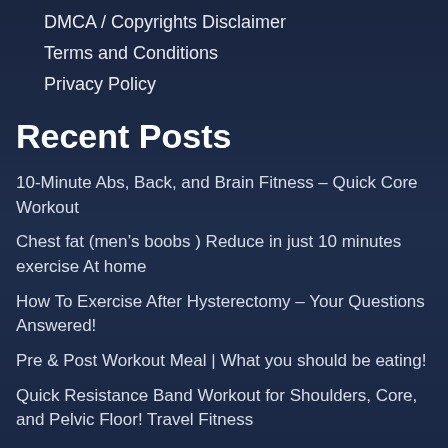DMCA / Copyrights Disclaimer
Terms and Conditions
Privacy Policy
Recent Posts
10-Minute Abs, Back, and Brain Fitness – Quick Core Workout
Chest fat (men's boobs ) Reduce in just 10 minutes exercise At home
How To Exercise After Hysterectomy – Your Questions Answered!
Pre & Post Workout Meal | What you should be eating!
Quick Resistance Band Workout for Shoulders, Core, and Pelvic Floor! Travel Fitness